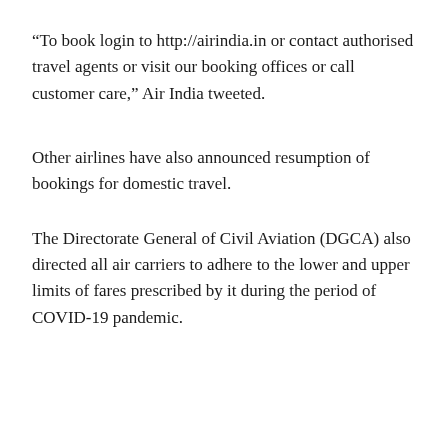“To book login to http://airindia.in or contact authorised travel agents or visit our booking offices or call customer care,” Air India tweeted.
Other airlines have also announced resumption of bookings for domestic travel.
The Directorate General of Civil Aviation (DGCA) also directed all air carriers to adhere to the lower and upper limits of fares prescribed by it during the period of COVID-19 pandemic.